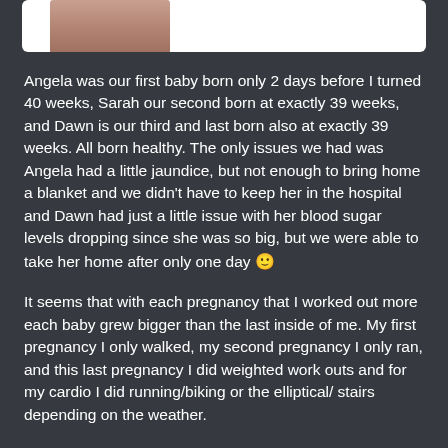[Figure (photo): Partial photo of a person visible at the top of a white card element]
Angela was our first baby born only 2 days before I turned 40 weeks, Sarah our second born at exactly 39 weeks, and Dawn is our third and last born also at exactly 39 weeks. All born healthy. The only issues we had was Angela had a little jaundice, but not enough to bring home a blanket and we didn't have to keep her in the hospital and Dawn had just a little issue with her blood sugar levels dropping since she was so big, but we were able to take her home after only one day 🙂
It seems that with each pregnancy that I worked out more each baby grew bigger than the last inside of me. My first pregnancy I only walked, my second pregnancy I only ran, and this last pregnancy I did weighted work outs and for my cardio I did running/biking or the elliptical/ stairs depending on the weather.